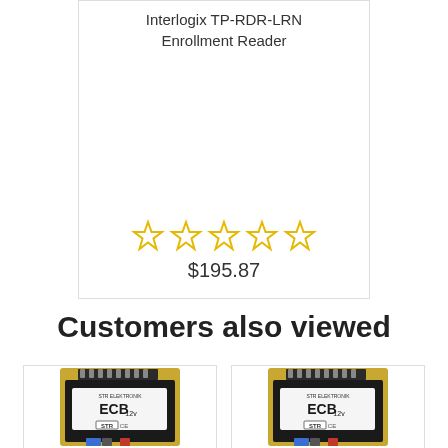Interlogix TP-RDR-LRN Enrollment Reader
[Figure (other): Five empty star rating icons in yellow outline]
$195.87
Customers also viewed
[Figure (photo): STR Elektronik ECB module product photo]
[Figure (photo): STR Elektronik ECB module product photo (duplicate)]